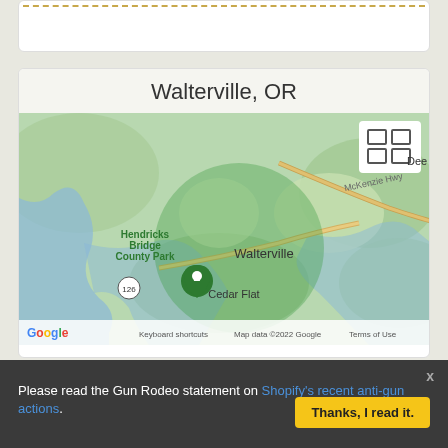[Figure (map): Google Map showing Walterville, OR area with a green semi-transparent circle overlay centered on Walterville, showing Hendricks Bridge County Park, Cedar Flat, McKenzie Hwy, and surrounding terrain. Google logo and map attribution visible at bottom.]
Approximation to protect seller's privacy
Please read the Gun Rodeo statement on Shopify's recent anti-gun actions.
Thanks, I read it.